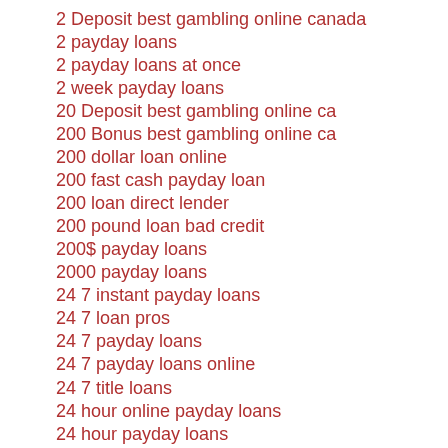2 Deposit best gambling online canada
2 payday loans
2 payday loans at once
2 week payday loans
20 Deposit best gambling online ca
200 Bonus best gambling online ca
200 dollar loan online
200 fast cash payday loan
200 loan direct lender
200 pound loan bad credit
200$ payday loans
2000 payday loans
24 7 instant payday loans
24 7 loan pros
24 7 payday loans
24 7 payday loans online
24 7 title loans
24 hour online payday loans
24 hour payday loans